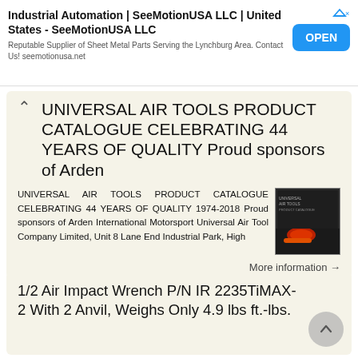[Figure (infographic): Advertisement banner for Industrial Automation | SeeMotionUSA LLC | United States with OPEN button]
UNIVERSAL AIR TOOLS PRODUCT CATALOGUE CELEBRATING 44 YEARS OF QUALITY Proud sponsors of Arden
UNIVERSAL AIR TOOLS PRODUCT CATALOGUE CELEBRATING 44 YEARS OF QUALITY 1974-2018 Proud sponsors of Arden International Motorsport Universal Air Tool Company Limited, Unit 8 Lane End Industrial Park, High
More information →
1/2 Air Impact Wrench P/N IR 2235TiMAX-2 With 2 Anvil, Weighs Only 4.9 lbs ft.-lbs.